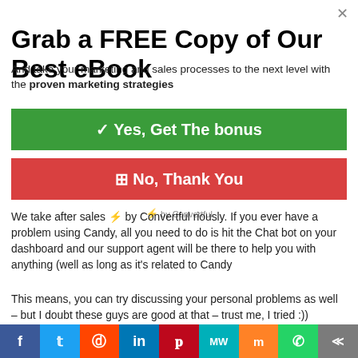Grab a FREE Copy of Our Best eBook
And take your marketing and sales processes to the next level with the proven marketing strategies
✓ Yes, Get The bonus
⊠ No, Thank You
We take after sales ⚡ by Convertful riously. If you ever have a problem using Candy, all you need to do is hit the Chat bot on your dashboard and our support agent will be there to help you with anything (well as long as it's related to Candy
This means, you can try discussing your personal problems as well – but I doubt these guys are good at that – trust me, I tried :))